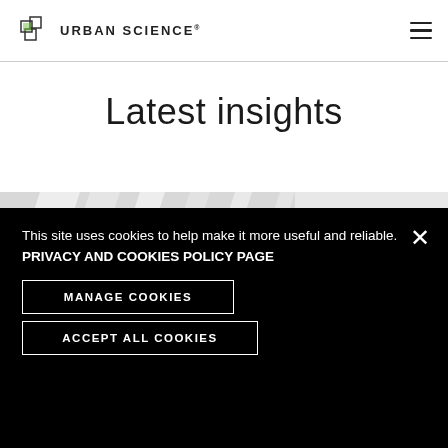URBAN SCIENCE
Latest insights
[Figure (illustration): Banner image with light gray/white diagonal stripes on the left half and a dark navy dot-matrix pattern on the right with a green circular chat/speech bubble icon overlay]
This site uses cookies to help make it more useful and reliable. PRIVACY AND COOKIES POLICY PAGE
MANAGE COOKIES
ACCEPT ALL COOKIES